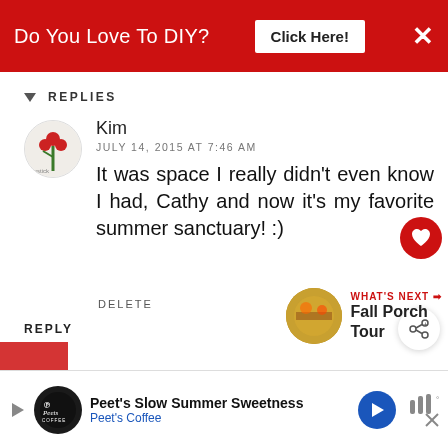Do You Love To DIY? Click Here!
REPLIES
Kim
JULY 14, 2015 AT 7:46 AM
It was space I really didn't even know I had, Cathy and now it's my favorite summer sanctuary! :)
DELETE
REPLY
WHAT'S NEXT → Fall Porch Tour
[Figure (screenshot): Peet's Coffee advertisement banner at bottom of page showing Peet's logo, 'Peet's Slow Summer Sweetness', 'Peet's Coffee' text, navigation arrow and audio icon]